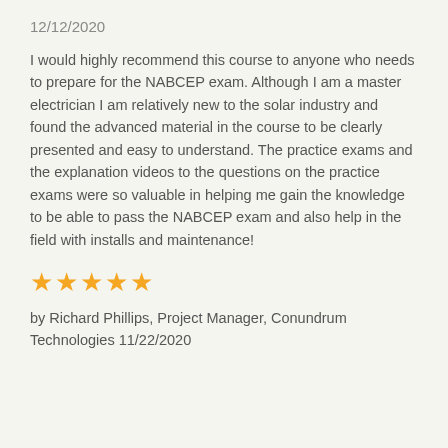12/12/2020
I would highly recommend this course to anyone who needs to prepare for the NABCEP exam. Although I am a master electrician I am relatively new to the solar industry and found the advanced material in the course to be clearly presented and easy to understand. The practice exams and the explanation videos to the questions on the practice exams were so valuable in helping me gain the knowledge to be able to pass the NABCEP exam and also help in the field with installs and maintenance!
[Figure (other): Five gold star rating icons]
by Richard Phillips, Project Manager, Conundrum Technologies 11/22/2020